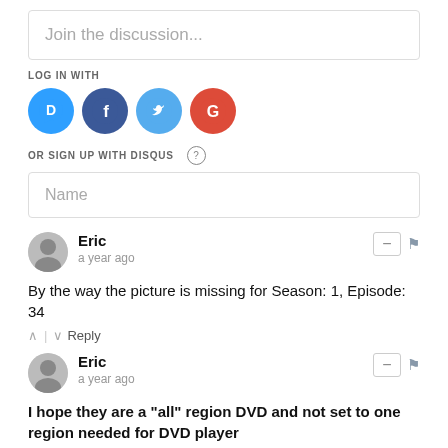Join the discussion...
LOG IN WITH
[Figure (illustration): Four social login icons: Disqus (blue D), Facebook (blue-purple f), Twitter (light blue bird), Google (red G)]
OR SIGN UP WITH DISQUS ?
Name
Eric
a year ago
By the way the picture is missing for Season: 1, Episode: 34
^ | v Reply
Eric
a year ago
I hope they are a "all" region DVD and not set to one region needed for DVD player
^ | v Reply